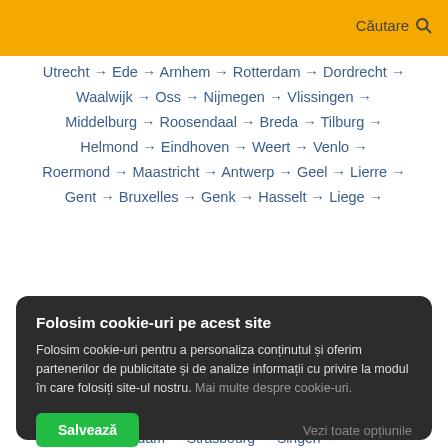Căutare
Utrecht → Ede → Arnhem → Rotterdam → Dordrecht → Waalwijk → Oss → Nijmegen → Vlissingen → Middelburg → Roosendaal → Breda → Tilburg → Helmond → Eindhoven → Weert → Venlo → Roermond → Maastricht → Antwerp → Geel → Lierre → Gent → Bruxelles → Genk → Hasselt → Liege →
Giltrans  Flensburg → Kappeln → Schleswig → Husum → Sankt Peter-Ording → Kiel → Heide → Busum → Neumunster → Lubeck → Bremerhaven →
Folosim cookie-uri pe acest site
Folosim cookie-uri pentru a personaliza conținutul și oferim partenerilor de publicitate și de analize informații cu privire la modul în care folosiți site-ul nostru. Mai multe despre cookie-uri.
Salvează  Vezi toate opțiunile
Potsdam → Strasbourg → Singen →